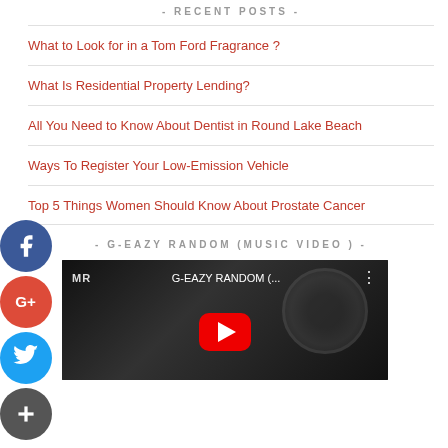- RECENT POSTS -
What to Look for in a Tom Ford Fragrance ?
What Is Residential Property Lending?
All You Need to Know About Dentist in Round Lake Beach
Ways To Register Your Low-Emission Vehicle
Top 5 Things Women Should Know About Prostate Cancer
- G-EAZY RANDOM (MUSIC VIDEO ) -
[Figure (screenshot): YouTube video thumbnail for G-EAZY RANDOM (MUSIC VIDEO) showing a dark background with a vinyl/record wheel and a red YouTube play button in the center.]